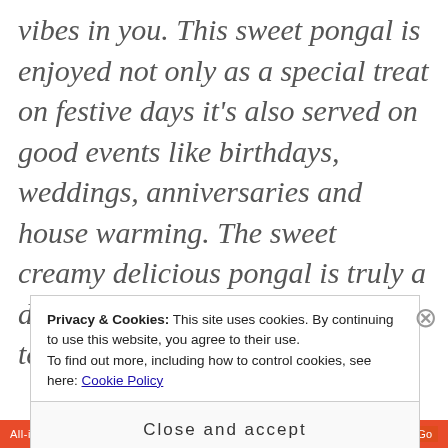vibes in you. This sweet pongal is enjoyed not only as a special treat on festive days it's also served on good events like birthdays, weddings, anniversaries and house warming. The sweet creamy delicious pongal is truly a delicacy from south India. I am telling
Privacy & Cookies: This site uses cookies. By continuing to use this website, you agree to their use. To find out more, including how to control cookies, see here: Cookie Policy
Close and accept